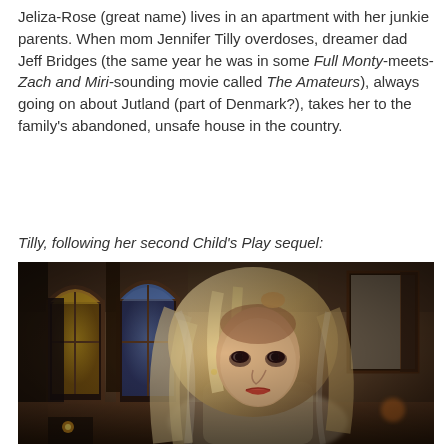Jeliza-Rose (great name) lives in an apartment with her junkie parents. When mom Jennifer Tilly overdoses, dreamer dad Jeff Bridges (the same year he was in some Full Monty-meets-Zach and Miri-sounding movie called The Amateurs), always going on about Jutland (part of Denmark?), takes her to the family's abandoned, unsafe house in the country.
Tilly, following her second Child's Play sequel:
[Figure (photo): A blonde woman with long hair in an ornate room with stained glass arched windows in the background. The lighting is dim and dramatic. The woman appears to be Jennifer Tilly in a movie still.]